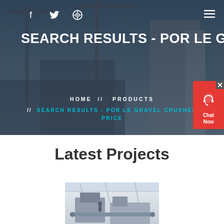[Figure (photo): Dark-tinted hero banner showing construction cranes and urban buildings under construction, used as website background]
f  Twitter  Dribbble  ≡
SEARCH RESULTS - POR LE GRA
HOME  //  PRODUCTS  //  SEARCH RESULTS - POR LE GRAVEL CRUSHER PRICE
[Figure (screenshot): Red chat widget with headset icon and 'Chat Now' text in bottom right corner]
Latest Projects
[Figure (photo): Industrial machinery or crusher equipment inside a facility]